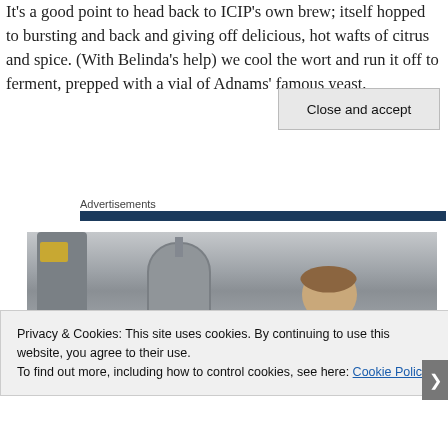It's a good point to head back to ICIP's own brew; itself hopped to bursting and back and giving off delicious, hot wafts of citrus and spice. (With Belinda's help) we cool the wort and run it off to ferment, prepped with a vial of Adnams' famous yeast.
Advertisements
[Figure (photo): Photo of brewing equipment (stainless steel tanks and fittings) with a person with brown hair visible in the foreground.]
Privacy & Cookies: This site uses cookies. By continuing to use this website, you agree to their use.
To find out more, including how to control cookies, see here: Cookie Policy
Close and accept